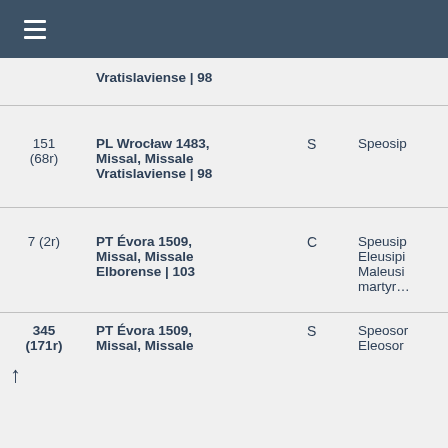≡
| No. | Reference | Type | Text |
| --- | --- | --- | --- |
|  | Vratislaviense | 98 |  |  |
| 151
(68r) | PL Wrocław 1483, Missal, Missale Vratislaviense | 98 | S | Speosip |
| 7 (2r) | PT Évora 1509, Missal, Missale Elborense | 103 | C | Speusip
Eleusipi
Maleusi
martyr… |
| 345
(171r) | PT Évora 1509, Missal, Missale | S | Speosor
Eleosor |